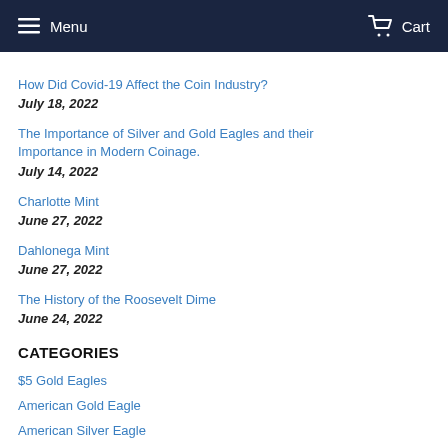Menu   Cart
How Did Covid-19 Affect the Coin Industry?
July 18, 2022
The Importance of Silver and Gold Eagles and their Importance in Modern Coinage.
July 14, 2022
Charlotte Mint
June 27, 2022
Dahlonega Mint
June 27, 2022
The History of the Roosevelt Dime
June 24, 2022
CATEGORIES
$5 Gold Eagles
American Gold Eagle
American Silver Eagle